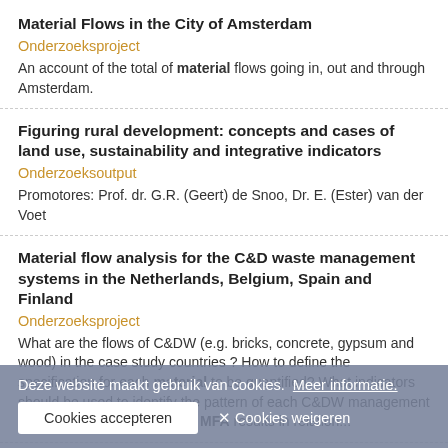Material Flows in the City of Amsterdam
Onderzoeksproject
An account of the total of material flows going in, out and through Amsterdam.
Figuring rural development: concepts and cases of land use, sustainability and integrative indicators
Onderzoeksoutput
Promotores: Prof. dr. G.R. (Geert) de Snoo, Dr. E. (Ester) van der Voet
Material flow analysis for the C&D waste management systems in the Netherlands, Belgium, Spain and Finland
Onderzoeksproject
What are the flows of C&DW (e.g. bricks, concrete, gypsum and wood) in the case study countries ? How to define the specification for each material to be quantified? What indicators should be used to identify the pattern of each C&DW management system? How to interpret the MFA results in relation...
Foreign Services / Ministry of Foreign Affairs (MFA)
The Hague Journal of Diplomacy
Deze website maakt gebruik van cookies.  Meer informatie.
Cookies accepteren   ✕ Cookies weigeren